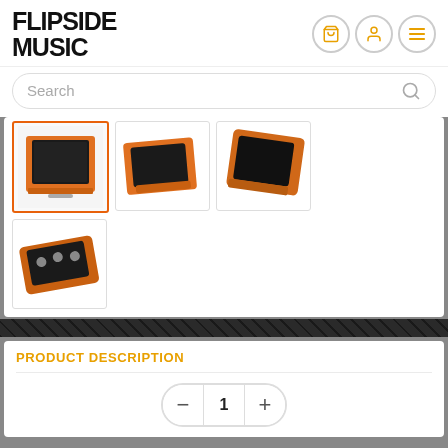[Figure (logo): Flipside Music logo in bold black distressed font]
[Figure (screenshot): Header icons: shopping cart, user account, hamburger menu — orange/gold color in circular borders]
[Figure (screenshot): Search bar with placeholder text 'Search' and magnifying glass icon]
[Figure (photo): Product thumbnail image 1 (selected, orange border): orange guitar pedal front view with black pad]
[Figure (photo): Product thumbnail image 2: orange guitar pedal side/angle view]
[Figure (photo): Product thumbnail image 3: orange guitar pedal another angle]
[Figure (photo): Product thumbnail image 4: orange guitar pedal with knobs visible, bottom row]
PRODUCT DESCRIPTION
[Figure (screenshot): Quantity selector control showing minus button, value '1', plus button in pill/rounded shape]